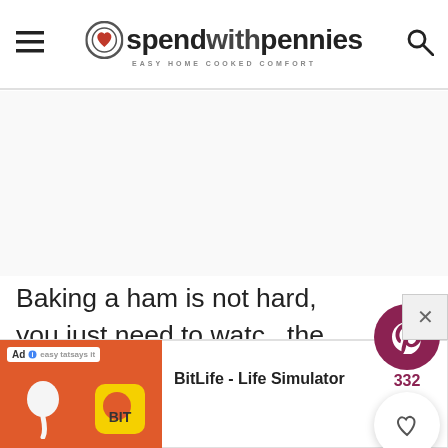spend with pennies — EASY HOME COOKED COMFORT
[Figure (logo): Spend with Pennies logo with heart/coin icon and tagline 'EASY HOME COOKED COMFORT']
Baking a ham is not hard, you just need to watch the temperature to make sure it heats through without over cooking.  Adding a brown sugar glaze to baked ham takes it to the next level without being overly...
[Figure (other): Pinterest share button (dark red circle with P icon) showing count 332, and a heart/save button below it]
[Figure (other): Ad banner: BitLife - Life Simulator app advertisement with Install button]